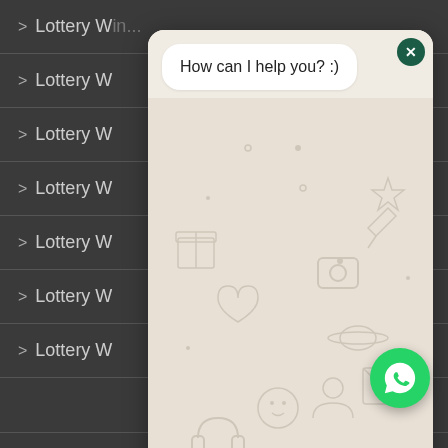> Lottery W...
> Lottery W...
> Lottery W...
> Lottery W...
> Lottery W...
> Lottery W...
> Lottery W...
[Figure (screenshot): WhatsApp chat popup widget showing 'How can I help you? :)' message bubble, WhatsApp decorative background pattern, an empty text input field, and a green send button.]
> Lottery Winning Spells in USA
> Lottery Winning Spells in Wales